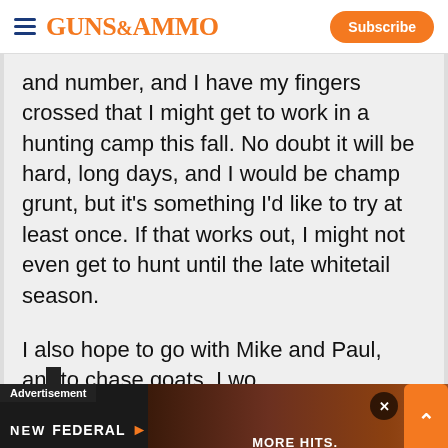GUNS&AMMO | Subscribe
and number, and I have my fingers crossed that I might get to work in a hunting camp this fall. No doubt it will be hard, long days, and I would be champ grunt, but it's something I'd like to try at least once. If that works out, I might not even get to hunt until the late whitetail season.

I also hope to go with Mike and Paul, and to chase goats. I wo...
[Figure (screenshot): Advertisement overlay showing 'NEW FEDERAL' brand ad with 'MORE HITS.' text on a dark background with orange close button and expand arrow]
We use cookies to provide you with the best experience in Outdoors programming. Click accept to continue or read about our Privacy Policy.